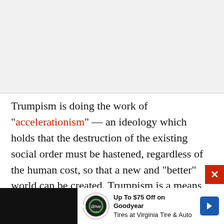[Figure (other): Gray empty area at top of page, likely where an image or advertisement was]
Trumpism is doing the work of "accelerationism" — an ideology which holds that the destruction of the existing social order must be hastened, regardless of the human cost, so that a new and "better" world can be created. Trumpism is a means through which a right-wing, reactionary version of accelerationism is being
[Figure (other): Advertisement banner at bottom: Up To $75 Off on Goodyear Tires at Virginia Tire & Auto with drive auto logo and blue arrow icon. Dark background with white ad panel.]